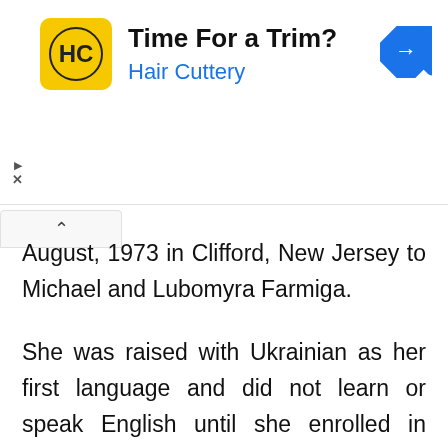[Figure (infographic): Advertisement banner for Hair Cuttery with logo, tagline 'Time For a Trim?', brand name 'Hair Cuttery' in blue, and a blue navigation diamond icon on the right.]
August, 1973 in Clifford, New Jersey to Michael and Lubomyra Farmiga.
She was raised with Ukrainian as her first language and did not learn or speak English until she enrolled in kindergarten at the age of six.
At the age of 12, her family moved to Whitehouse Station, New Jersey. She